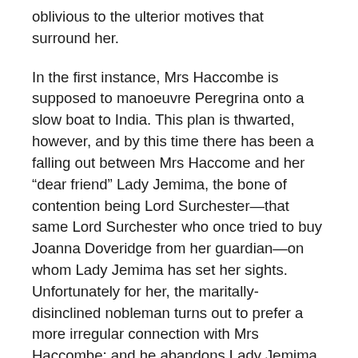oblivious to the ulterior motives that surround her.
In the first instance, Mrs Haccombe is supposed to manoeuvre Peregrina onto a slow boat to India. This plan is thwarted, however, and by this time there has been a falling out between Mrs Haccome and her “dear friend” Lady Jemima, the bone of contention being Lord Surchester—that same Lord Surchester who once tried to buy Joanna Doveridge from her guardian—on whom Lady Jemima has set her sights. Unfortunately for her, the maritally-disinclined nobleman turns out to prefer a more irregular connection with Mrs Haccombe; and he abandons Lady Jemima to follow her “dear friend” to London.
With the need to distract her husband from what is going on in his household, Mrs Haccombe takes in Peregrina,